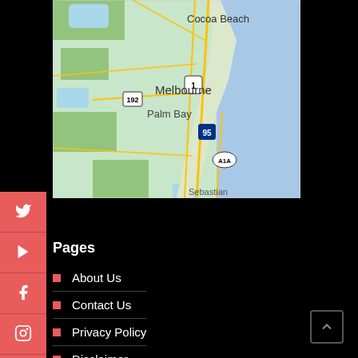[Figure (map): Google Map screenshot showing the Florida east coast area including Cocoa Beach, Melbourne, Palm Bay, and Sebastian. Roads including US-1, I-95, SR-192, and A1A are visible. The Atlantic Ocean appears on the right side in blue.]
Pages
About Us
Contact Us
Privacy Policy
Disclaimer